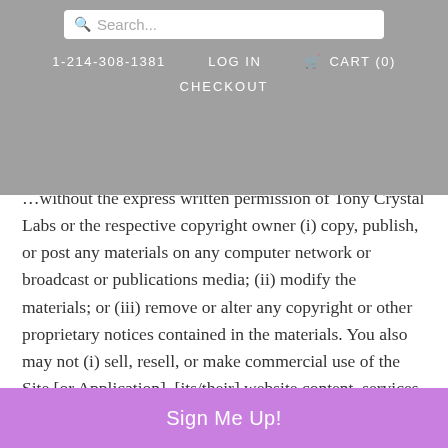Search... | 1-214-308-1381 | LOG IN | CART (0) | CHECKOUT
...without the express written permission of Tony Crystal Labs or the respective copyright owner (i) copy, publish, or post any materials on any computer network or broadcast or publications media; (ii) modify the materials; or (iii) remove or alter any copyright or other proprietary notices contained in the materials. You also may not (i) sell, resell, or make commercial use of the Site [or Application], [its/their] website content, services, or products obtained through...
Sign Me Up!